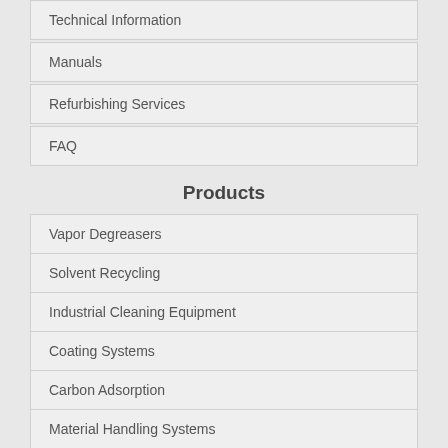Technical Information
Manuals
Refurbishing Services
FAQ
Products
Vapor Degreasers
Solvent Recycling
Industrial Cleaning Equipment
Coating Systems
Carbon Adsorption
Material Handling Systems
Industries Served